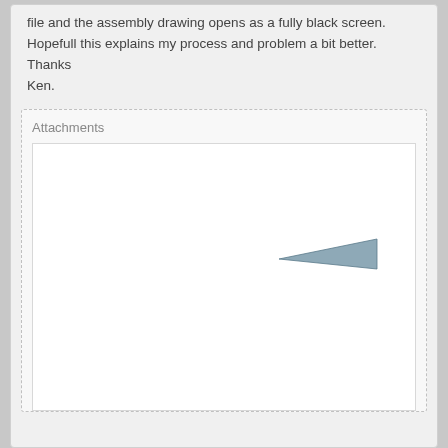file and the assembly drawing opens as a fully black screen. Hopefull this explains my process and problem a bit better. Thanks
Ken.
Attachments
[Figure (screenshot): Attachment image area showing a white background with a small triangular dark shape in the upper-right portion, resembling a corner of a drawing or document thumbnail.]